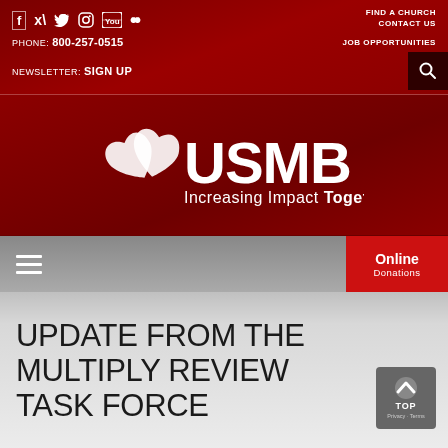f  twitter  instagram  youtube  flickr   FIND A CHURCH  CONTACT US  PHONE: 800-257-0515  JOB OPPORTUNITIES  NEWSLETTER: SIGN UP
[Figure (logo): USMB logo with heart/dove icon and tagline 'Increasing Impact Together' on dark red background]
Online Donations
UPDATE FROM THE MULTIPLY REVIEW TASK FORCE